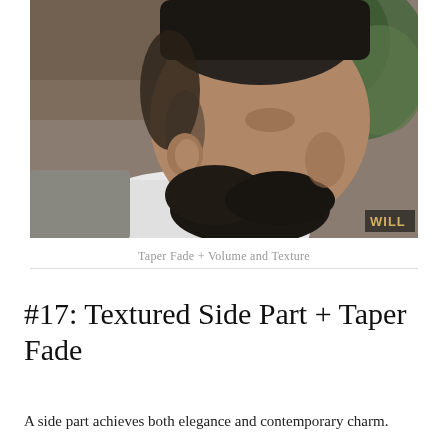[Figure (photo): Side profile photo of a man with a taper fade haircut, textured top, and groomed beard. He wears a white collared shirt and grey jacket. Green plant visible in background. Watermark 'WILL' visible in bottom right corner of photo.]
Taper Fade + Volume and Texture
#17: Textured Side Part + Taper Fade
A side part achieves both elegance and contemporary charm.